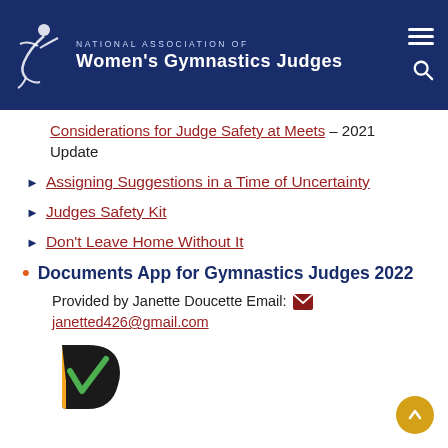NATIONAL ASSOCIATION OF Women's Gymnastics Judges
Considerations for Judge Safety at Meets – 2021 Update
Assigning Suggestions in a Time of Uncertainty
Judges Safety Kit
Don't Leave Home Without It
Documents App for Gymnastics Judges 2022
Provided by Janette Doucette Email: janetted426@gmail.com
[Figure (logo): Partial view of a D-shaped app logo in orange/green/black colors]